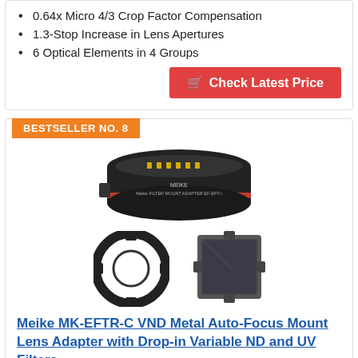0.64x Micro 4/3 Crop Factor Compensation
1.3-Stop Increase in Lens Apertures
6 Optical Elements in 4 Groups
[Figure (other): Check Latest Price button (red background with shopping cart icon)]
[Figure (other): BESTSELLER NO. 8 badge in orange]
[Figure (photo): Meike MK-EFTR-C VND Metal Auto-Focus Mount Lens Adapter with Drop-in Variable ND and UV Filters product photos showing the adapter unit and its components]
Meike MK-EFTR-C VND Metal Auto-Focus Mount Lens Adapter with Drop-in Variable ND and UV Filters